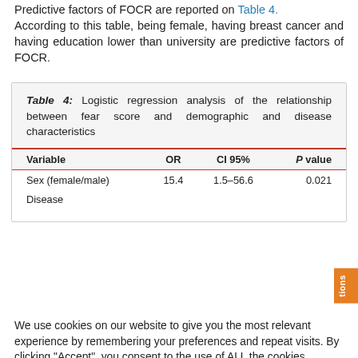Predictive factors of FOCR are reported on Table 4. According to this table, being female, having breast cancer and having education lower than university are predictive factors of FOCR.
Table 4: Logistic regression analysis of the relationship between fear score and demographic and disease characteristics
| Variable | OR | CI 95% | P value |
| --- | --- | --- | --- |
| Sex (female/male) | 15.4 | 1.5-56.6 | 0.021 |
| Disease |  |  |  |
We use cookies on our website to give you the most relevant experience by remembering your preferences and repeat visits. By clicking "Accept", you consent to the use of ALL the cookies.
Do not sell my personal information.